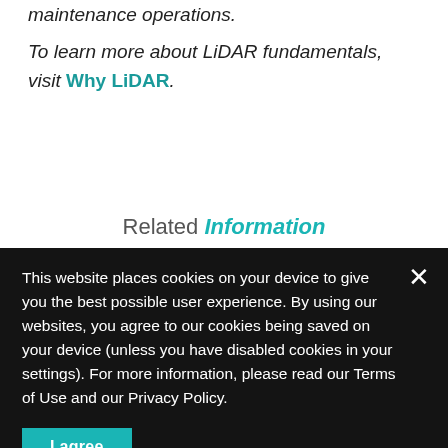maintenance operations.
To learn more about LiDAR fundamentals, visit Why LiDAR.
Related Information
This website places cookies on your device to give you the best possible user experience. By using our websites, you agree to our cookies being saved on your device (unless you have disabled cookies in your settings). For more information, please read our Terms of Use and our Privacy Policy.